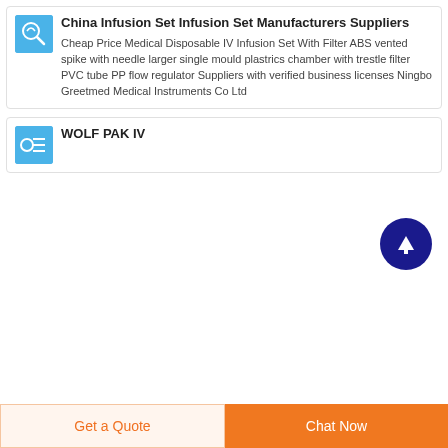[Figure (illustration): Blue thumbnail image of an infusion set product]
China Infusion Set Infusion Set Manufacturers Suppliers
Cheap Price Medical Disposable IV Infusion Set With Filter ABS vented spike with needle larger single mould plastrics chamber with trestle filter PVC tube PP flow regulator Suppliers with verified business licenses Ningbo Greetmed Medical Instruments Co Ltd
[Figure (illustration): Blue thumbnail image of a WOLF PAK IV product]
WOLF PAK IV
Get a Quote
Chat Now